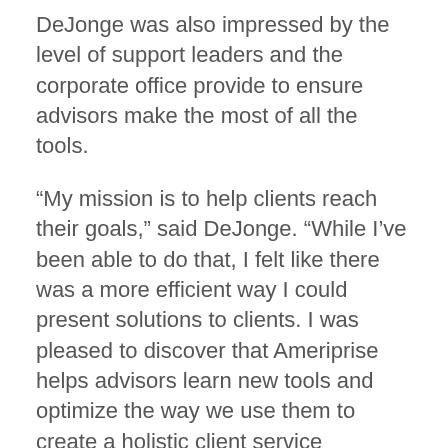DeJonge was also impressed by the level of support leaders and the corporate office provide to ensure advisors make the most of all the tools.
“My mission is to help clients reach their goals,” said DeJonge. “While I’ve been able to do that, I felt like there was a more efficient way I could present solutions to clients. I was pleased to discover that Ameriprise helps advisors learn new tools and optimize the way we use them to create a holistic client service experience.”
Client service associate Shirah Hopper moved to Ameriprise with DeJonge. Dean McGill supports the team as their Ameriprise franchise field vice president.
More than 4,000 financial advisors have joined Ameriprise since 2008.¹ To find out why experienced